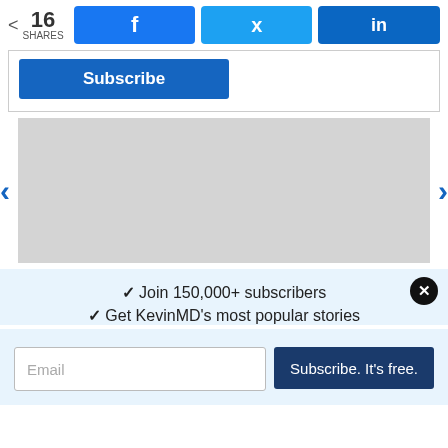16 SHARES
[Figure (screenshot): Social share buttons: Facebook (f), Twitter (bird icon), LinkedIn (in)]
[Figure (screenshot): Subscribe button (blue) in a bordered box]
[Figure (screenshot): Gray image placeholder with left and right navigation arrows (slider)]
✓ Join 150,000+ subscribers
✓ Get KevinMD's most popular stories
[Figure (screenshot): Email input field and 'Subscribe. It's free.' button]